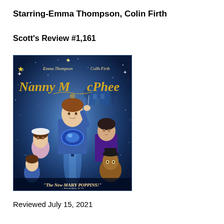Starring-Emma Thompson, Colin Firth
Scott's Review #1,161
[Figure (photo): Movie poster for Nanny McPhee starring Emma Thompson and Colin Firth. The poster features a boy in a blue suit at the center, with other characters around him including a girl and a man in purple suit. The background shows a magical blue sparkling scene with a house. Text on poster reads 'Emma Thompson  Colin Firth', 'Nanny McPhee', and '"The New Mary Poppins!"']
Reviewed July 15, 2021